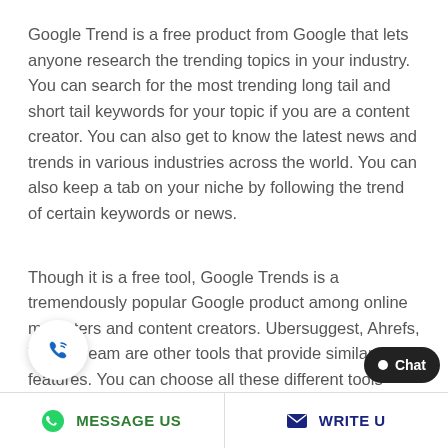Google Trend is a free product from Google that lets anyone research the trending topics in your industry. You can search for the most trending long tail and short tail keywords for your topic if you are a content creator. You can also get to know the latest news and trends in various industries across the world. You can also keep a tab on your niche by following the trend of certain keywords or news.
Though it is a free tool, Google Trends is a tremendously popular Google product among online marketers and content creators. Ubersuggest, Ahrefs, WordStream are other tools that provide similar features. You can choose all these different tools based on your needs.
MESSAGE US   WRITE U   Chat